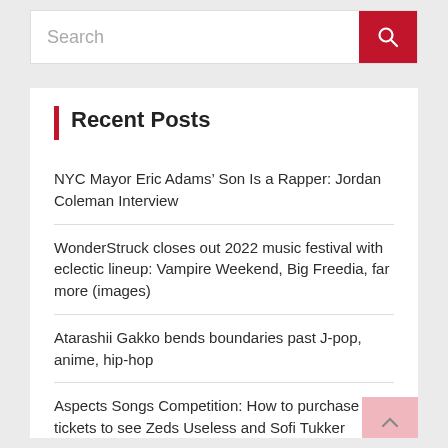Search
Recent Posts
NYC Mayor Eric Adams’ Son Is a Rapper: Jordan Coleman Interview
WonderStruck closes out 2022 music festival with eclectic lineup: Vampire Weekend, Big Freedia, far more (images)
Atarashii Gakko bends boundaries past J-pop, anime, hip-hop
Aspects Songs Competition: How to purchase tickets to see Zeds Useless and Sofi Tukker
“He was just a genuine-offer rock’n’roller”